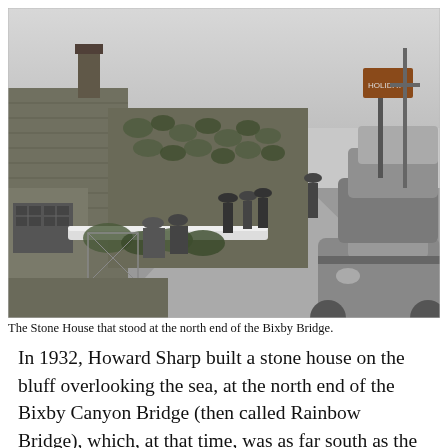[Figure (photo): Black and white historical photograph showing the Stone House at the north end of Bixby Bridge. Several people are standing and sitting near a stone building with ivy or vine growth. Vintage automobiles from the 1940s–1950s are parked on the right side. A road runs through the middle of the scene.]
The Stone House that stood at the north end of the Bixby Bridge.
In 1932, Howard Sharp built a stone house on the bluff overlooking the sea, at the north end of the Bixby Canyon Bridge (then called Rainbow Bridge), which, at that time, was as far south as the paved road extended until the highway